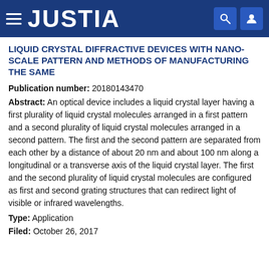JUSTIA
LIQUID CRYSTAL DIFFRACTIVE DEVICES WITH NANO-SCALE PATTERN AND METHODS OF MANUFACTURING THE SAME
Publication number: 20180143470
Abstract: An optical device includes a liquid crystal layer having a first plurality of liquid crystal molecules arranged in a first pattern and a second plurality of liquid crystal molecules arranged in a second pattern. The first and the second pattern are separated from each other by a distance of about 20 nm and about 100 nm along a longitudinal or a transverse axis of the liquid crystal layer. The first and the second plurality of liquid crystal molecules are configured as first and second grating structures that can redirect light of visible or infrared wavelengths.
Type: Application
Filed: October 26, 2017